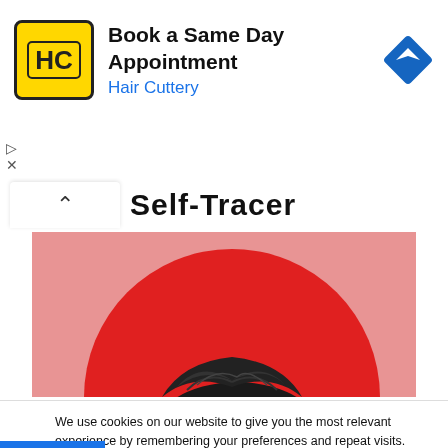[Figure (screenshot): Advertisement banner for Hair Cuttery with yellow HC logo, text 'Book a Same Day Appointment' and 'Hair Cuttery' in blue, and a blue navigation/directions diamond icon on right]
[Figure (illustration): Partial illustration of a person with dark hair against a large red circle on a pink/salmon background]
We use cookies on our website to give you the most relevant experience by remembering your preferences and repeat visits. By clicking "Accept All", you consent to the use of ALL the cookies. However, you may visit "Cookie Settings" to provide a controlled consent.
Cookie Settings
Accept All